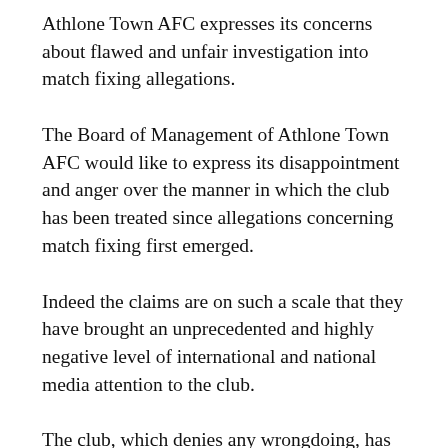Athlone Town AFC expresses its concerns about flawed and unfair investigation into match fixing allegations.
The Board of Management of Athlone Town AFC would like to express its disappointment and anger over the manner in which the club has been treated since allegations concerning match fixing first emerged.
Indeed the claims are on such a scale that they have brought an unprecedented and highly negative level of international and national media attention to the club.
The club, which denies any wrongdoing, has at all times tried to act with...